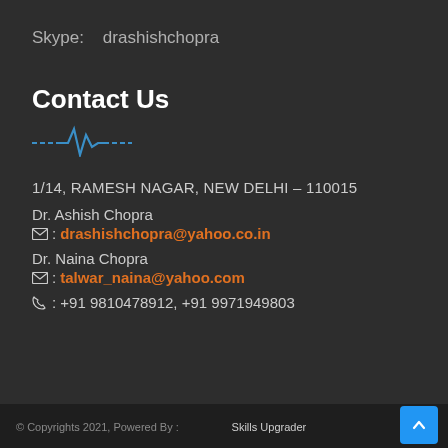Skype:   drashishchopra
Contact Us
[Figure (illustration): Blue EKG/heartbeat waveform divider line]
1/14, RAMESH NAGAR, NEW DELHI – 110015
Dr. Ashish Chopra
✉ : drashishchopra@yahoo.co.in
Dr. Naina Chopra
✉ : talwar_naina@yahoo.com
☎ : +91 9810478912, +91 9971949803
© Copyrights 2021, Powered By :      Skills Upgrader